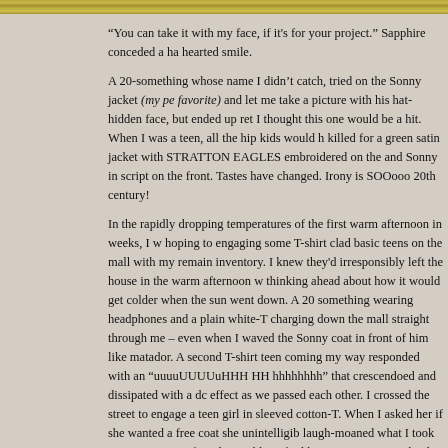[Figure (photo): Partial photo strip at the top of the page showing a golden/brown textured background, cropped.]
“You can take it with my face, if it’s for your project.” Sapphire conceded a ha hearted smile.

A 20-something whose name I didn’t catch, tried on the Sonny jacket (my pe favorite) and let me take a picture with his hat-hidden face, but ended up ret I thought this one would be a hit. When I was a teen, all the hip kids would h killed for a green satin jacket with STRATTON EAGLES embroidered on the and Sonny in script on the front. Tastes have changed. Irony is SOOooo 20th century!

In the rapidly dropping temperatures of the first warm afternoon in weeks, I w hoping to engaging some T-shirt clad basic teens on the mall with my remain inventory. I knew they’d irresponsibly left the house in the warm afternoon w thinking ahead about how it would get colder when the sun went down. A 20 something wearing headphones and a plain white-T charging down the mall straight through me – even when I waved the Sonny coat in front of him like matador. A second T-shirt teen coming my way responded with an “uuuuUUUUuHHH HH hhhhhhhh” that crescendoed and dissipated with a dc effect as we passed each other. I crossed the street to engage a teen girl in sleeved cotton-T. When I asked her if she wanted a free coat she unintelligib laugh-moaned what I took to mean no. Her friend was able to find his manne say “No thank you.” A couple of male teens, one in a sensible-for-the-weathe bomber jacket and one in an American Eagle Outfitters cotton long-sleeve w cuffs pulled over his hands in T-shirt mittens, were crossing toward me. I wa the corner, “Hey man, you want this free coat,” holding up Sonny. He respon a wide-eye terrorized expression that looked like the pre-cursor to